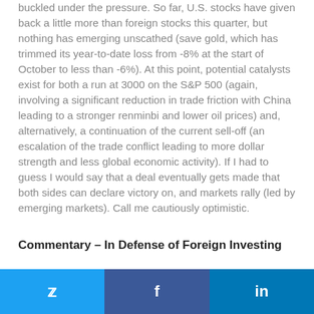buckled under the pressure.  So far, U.S. stocks have given back a little more than foreign stocks this quarter, but nothing has emerging unscathed (save gold, which has trimmed its year-to-date loss from -8% at the start of October to less than -6%).  At this point, potential catalysts exist for both a run at 3000 on the S&P 500 (again, involving a significant reduction in trade friction with China leading to a stronger renminbi and lower oil prices) and, alternatively, a continuation of the current sell-off (an escalation of the trade conflict leading to more dollar strength and less global economic activity).  If I had to guess I would say that a deal eventually gets made that both sides can declare victory on, and markets rally (led by emerging markets).  Call me cautiously optimistic.
Commentary – In Defense of Foreign Investing
What is the right amount of a portfolio to invest overseas?  A